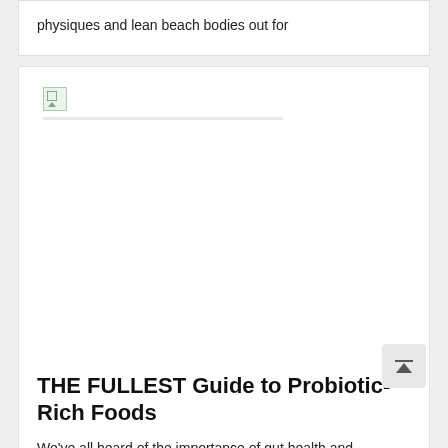physiques and lean beach bodies out for
[Figure (photo): Article thumbnail image placeholder with broken image icon]
THE FULLEST Guide to Probiotic-Rich Foods
We've all heard of the importance of gut health and probiotic-rich foods — but sometimes the nuance and specific benefits of these fermented
[Figure (photo): Second article thumbnail image placeholder with broken image icon]